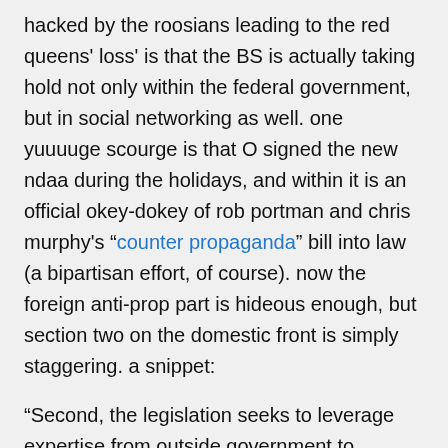hacked by the roosians leading to the red queens' loss' is that the BS is actually taking hold not only within the federal government, but in social networking as well. one yuuuuge scourge is that O signed the new ndaa during the holidays, and within it is an official okey-dokey of rob portman and chris murphy's “counter propaganda” bill into law (a bipartisan effort, of course). now the foreign anti-prop part is hideous enough, but section two on the domestic front is simply staggering. a snippet:
“Second, the legislation seeks to leverage expertise from outside government to counter propaganda and recognize U.S.